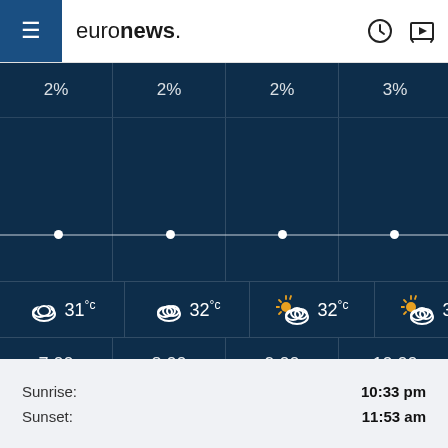[Figure (screenshot): Euronews website header with hamburger menu, logo, clock icon, and play button icon]
[Figure (infographic): Hourly weather forecast grid showing precipitation percentages (2%, 2%, 2%, 3%), weather icons, temperatures (31°C, 32°C, 32°C, 32°C), and times (7:00, 8:00, 9:00, 10:00) on dark blue background]
| Label | Value |
| --- | --- |
| Sunrise: | 10:33 pm |
| Sunset: | 11:53 am |